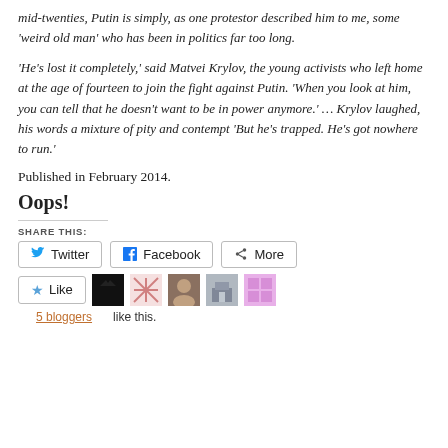mid-twenties, Putin is simply, as one protestor described him to me, some ‘weird old man’ who has been in politics far too long.
‘He’s lost it completely,’ said Matvei Krylov, the young activists who left home at the age of fourteen to join the fight against Putin. ‘When you look at him, you can tell that he doesn’t want to be in power anymore.’ … Krylov laughed, his words a mixture of pity and contempt ‘But he’s trapped. He’s got nowhere to run.’
Published in February 2014.
Oops!
SHARE THIS:
Twitter Facebook More
5 bloggers like this.